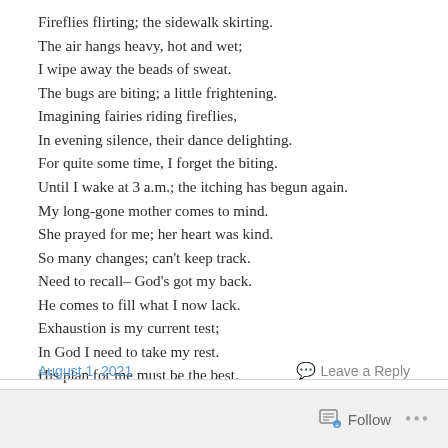Fireflies flirting; the sidewalk skirting.
The air hangs heavy, hot and wet;
I wipe away the beads of sweat.
The bugs are biting; a little frightening.
Imagining fairies riding fireflies,
In evening silence, their dance delighting.
For quite some time, I forget the biting.
Until I wake at 3 a.m.; the itching has begun again.
My long-gone mother comes to mind.
She prayed for me; her heart was kind.
So many changes; can't keep track.
Need to recall– God's got my back.
He comes to fill what I now lack.
Exhaustion is my current test;
In God I need to take my rest.
His plan for me must be the best.
August 1, 2021   Leave a Reply   Follow ...